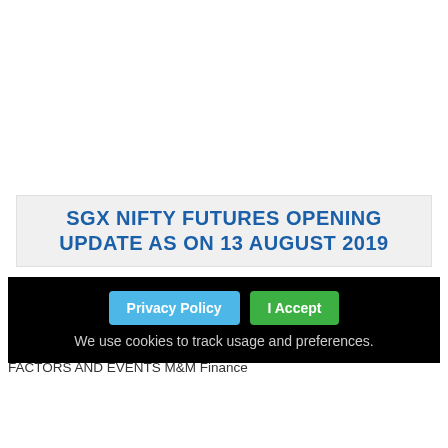SGX NIFTY FUTURES OPENING UPDATE AS ON 13 AUGUST 2019
The SGX Nifty Futures are trading lower with a loss of -1.43% percent on the international platform indicating at 20,322.50. The Hang Seng Futures are also trading lower by -% percent or -356.00 point. TODAY'S FACTORS AND EVENTS M&M Finance
Read More ◎
◎ Category : SGX Nifty News